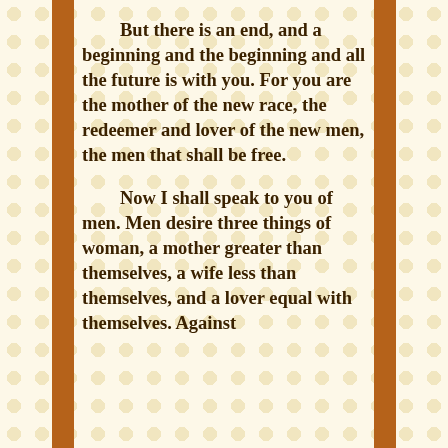But there is an end, and a beginning and the beginning and all the future is with you. For you are the mother of the new race, the redeemer and lover of the new men, the men that shall be free.

Now I shall speak to you of men. Men desire three things of woman, a mother greater than themselves, a wife less than themselves, and a lover equal with themselves. Against the…